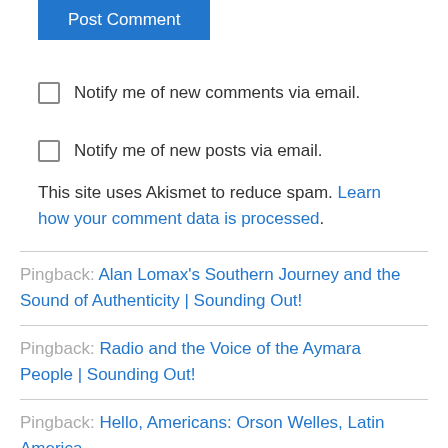Post Comment
Notify me of new comments via email.
Notify me of new posts via email.
This site uses Akismet to reduce spam. Learn how your comment data is processed.
Pingback: Alan Lomax's Southern Journey and the Sound of Authenticity | Sounding Out!
Pingback: Radio and the Voice of the Aymara People | Sounding Out!
Pingback: Hello, Americans: Orson Welles, Latin America,